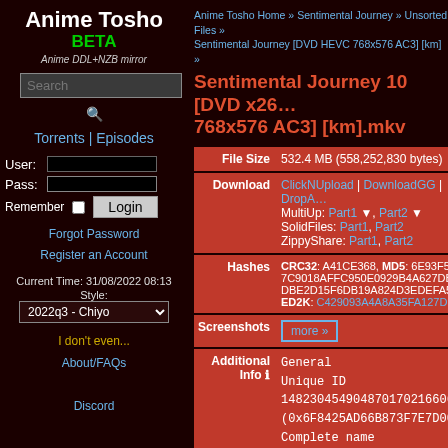Anime Tosho BETA
Anime DDL+NZB mirror
Torrents | Episodes
User: Pass: Remember Login
Forgot Password
Register an Account
Current Time: 31/08/2022 08:13
Style:
2022q3 - Chiyo
I don't even...
About/FAQs
Discord
Anime Tosho Home » Sentimental Journey » Unsorted Files » Sentimental Journey [DVD HEVC 768x576 AC3] [km] »
Sentimental Journey 10 [DVD x265 768x576 AC3] [km].mkv
| Label | Value |
| --- | --- |
| File Size | 532.4 MB (558,252,830 bytes) |
| Download | ClickNUpload | DownloadGG | DropAppleMultiUp: Part1 ▼, Part2 ▼SolidFiles: Part1, Part2ZippyShare: Part1, Part2 |
| Hashes | CRC32: A41CE368, MD5: 6E93F597C9018AFFC950E0929B4A627DBFDBE2D15F6DB19A824D3EDEFA54ED2K: C429093A4A8A35FA127D3I |
| Screenshots | more » |
| Additional Info ℹ | General
Unique ID
14823045490487017021660615
(0x6F8425AD66B873F7E7D003B
Complete name
10 [DVD x265 768x576 AC3]
Format
Format version
File size
Duration
Overall bit rate |